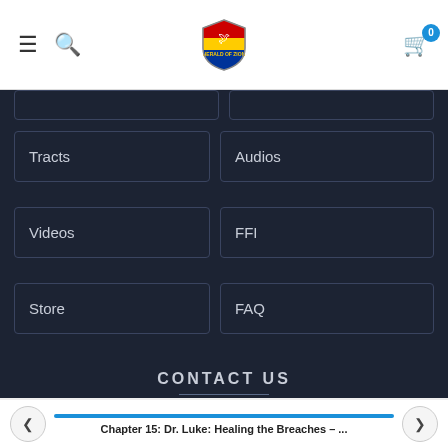[Figure (screenshot): Website header with hamburger menu, search icon, shield logo, and shopping cart with badge showing 0]
Tracts
Audios
Videos
FFI
Store
FAQ
CONTACT US
ADDRESS  6201 University Avenue, NE Fridley, MN 55432
Chapter 15: Dr. Luke: Healing the Breaches – ...